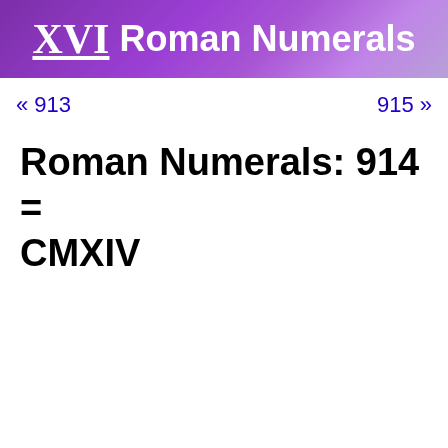XVI Roman Numerals
« 913    915 »
Roman Numerals: 914 = CMXIV